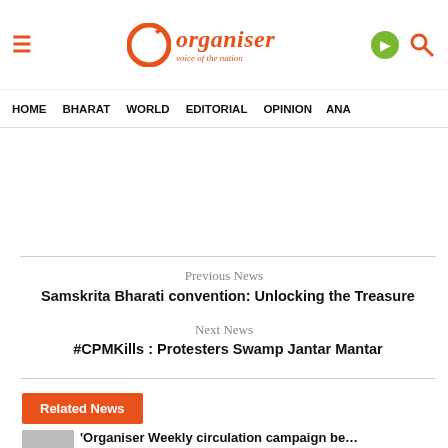Organiser – voice of the nation
HOME   BHARAT   WORLD   EDITORIAL   OPINION   ANA…
Previous News
Samskrita Bharati convention: Unlocking the Treasure
Next News
#CPMKills : Protesters Swamp Jantar Mantar
Related News
'Organiser Weekly circulation campaign be…